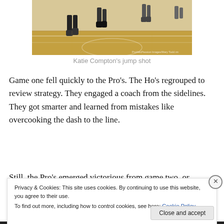[Figure (photo): Basketball court photo showing players' legs mid-game on a wooden gym floor with court lines visible. Watermark reads 'ProVelcPassion Images/Mary Todd.nn']
Katie Compton's jump shot
Game one fell quickly to the Pro's. The Ho's regrouped to review strategy. They engaged a coach from the sidelines. They got smarter and learned from mistakes like overcooking the dash to the line.
Still, the Pro's emerged victorious from game two, or
Privacy & Cookies: This site uses cookies. By continuing to use this website, you agree to their use.
To find out more, including how to control cookies, see here: Cookie Policy
Close and accept